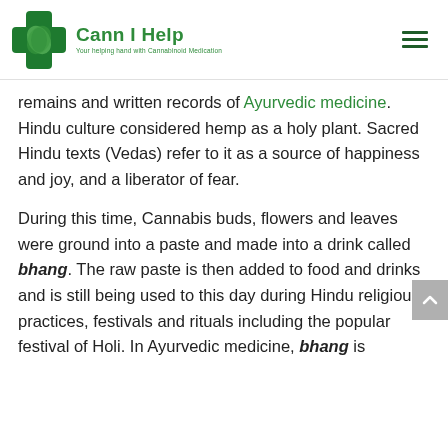Cann I Help — Your helping hand with Cannabinoid Medication
remains and written records of Ayurvedic medicine. Hindu culture considered hemp as a holy plant. Sacred Hindu texts (Vedas) refer to it as a source of happiness and joy, and a liberator of fear.
During this time, Cannabis buds, flowers and leaves were ground into a paste and made into a drink called bhang. The raw paste is then added to food and drinks and is still being used to this day during Hindu religious practices, festivals and rituals including the popular festival of Holi. In Ayurvedic medicine, bhang is